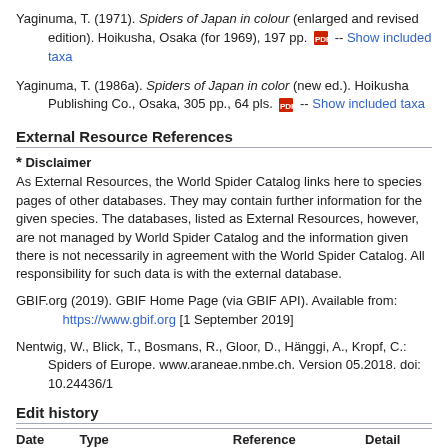Yaginuma, T. (1971). Spiders of Japan in colour (enlarged and revised edition). Hoikusha, Osaka (for 1969), 197 pp. [PDF] -- Show included taxa
Yaginuma, T. (1986a). Spiders of Japan in color (new ed.). Hoikusha Publishing Co., Osaka, 305 pp., 64 pls. [PDF] -- Show included taxa
External Resource References
* Disclaimer
As External Resources, the World Spider Catalog links here to species pages of other databases. They may contain further information for the given species. The databases, listed as External Resources, however, are not managed by World Spider Catalog and the information given there is not necessarily in agreement with the World Spider Catalog. All responsibility for such data is with the external database.
GBIF.org (2019). GBIF Home Page (via GBIF API). Available from: https://www.gbif.org [1 September 2019]
Nentwig, W., Blick, T., Bosmans, R., Gloor, D., Hänggi, A., Kropf, C.: Spiders of Europe. www.araneae.nmbe.ch. Version 05.2018. doi: 10.24436/1
Edit history
| Date | Type | Reference | Detail |
| --- | --- | --- | --- |
| 2021- | New taxonomic | Martyn, 1793 | n/a |